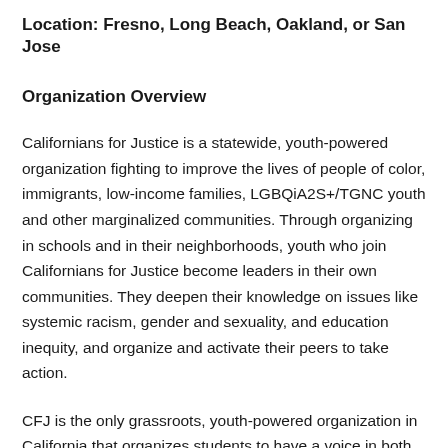Location: Fresno, Long Beach, Oakland, or San Jose
Organization Overview
Californians for Justice is a statewide, youth-powered organization fighting to improve the lives of people of color, immigrants, low-income families, LGBQiA2S+/TGNC youth and other marginalized communities. Through organizing in schools and in their neighborhoods, youth who join Californians for Justice become leaders in their own communities. They deepen their knowledge on issues like systemic racism, gender and sexuality, and education inequity, and organize and activate their peers to take action.
CFJ is the only grassroots, youth-powered organization in California that organizes students to have a voice in both